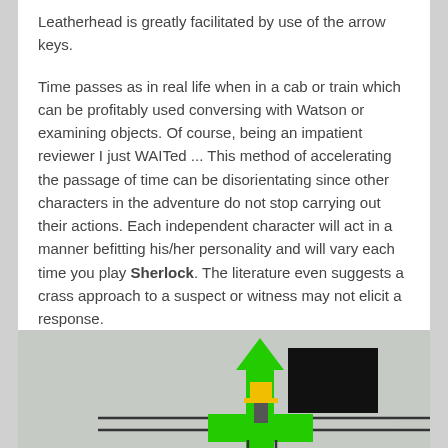Leatherhead is greatly facilitated by use of the arrow keys.
Time passes as in real life when in a cab or train which can be profitably used conversing with Watson or examining objects. Of course, being an impatient reviewer I just WAITed ... This method of accelerating the passage of time can be disorientating since other characters in the adventure do not stop carrying out their actions. Each independent character will act in a manner befitting his/her personality and will vary each time you play Sherlock. The literature even suggests a crass approach to a suspect or witness may not elicit a response.
[Figure (screenshot): A game screenshot showing a top-down view with a green arrow pointing upward, a figure with a yellow top hat, a black rectangle, and what appears to be a street intersection or map element on a light grey background.]